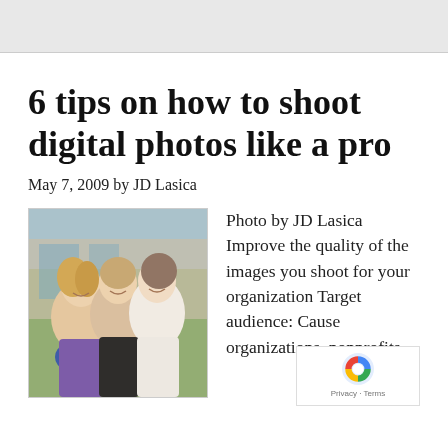6 tips on how to shoot digital photos like a pro
May 7, 2009 by JD Lasica
[Figure (photo): Photo of three smiling women posing together outdoors, two wearing blue ribbons]
Photo by JD Lasica Improve the quality of the images you shoot for your organization Target audience: Cause organizations, nonprofits,